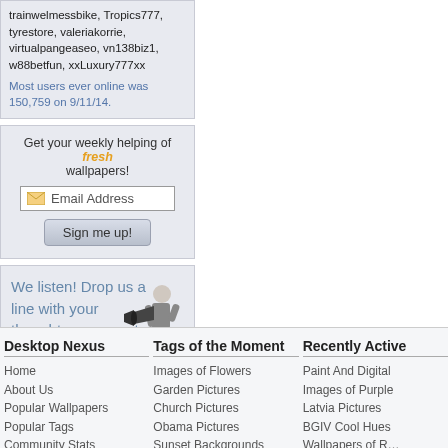trainwelmessbike, Tropics777, tyrestore, valeriakorrie, virtualpangeaseo, vn138biz1, w88betfun, xxLuxury777xx
Most users ever online was 150,759 on 9/11/14.
Get your weekly helping of fresh wallpapers!
Email Address
Sign me up!
We listen! Drop us a line with your thoughts, comments, or feedback!
[Figure (illustration): Person holding a megaphone/bullhorn]
Support This Site
Desktop Nexus
Home
About Us
Popular Wallpapers
Popular Tags
Community Stats
Tags of the Moment
Images of Flowers
Garden Pictures
Church Pictures
Obama Pictures
Sunset Backgrounds
Recently Active
Paint And Digital
Images of Purple
Latvia Pictures
BGIV Cool Hues
Wallpapers of R